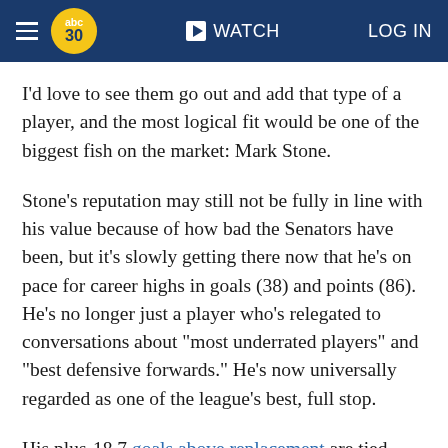abc30 WATCH LOG IN
I'd love to see them go out and add that type of a player, and the most logical fit would be one of the biggest fish on the market: Mark Stone.
Stone's reputation may still not be fully in line with his value because of how bad the Senators have been, but it's slowly getting there now that he's on pace for career highs in goals (38) and points (86). He's no longer just a player who's relegated to conversations about "most underrated players" and "best defensive forwards." He's now universally regarded as one of the league's best, full stop.
His plus-18.7 goals above replacement are tied with